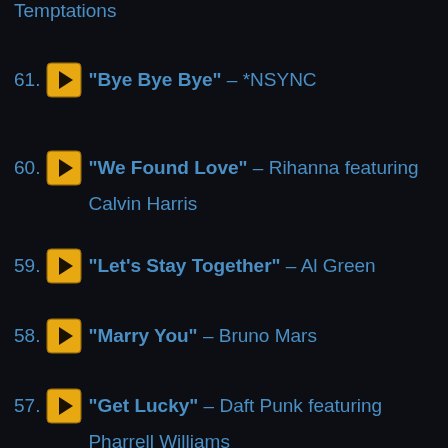Temptations (partial, top of page)
61. "Bye Bye Bye" – *NSYNC
60. "We Found Love" – Rihanna featuring Calvin Harris
59. "Let's Stay Together" – Al Green
58. "Marry You" – Bruno Mars
57. "Get Lucky" – Daft Punk featuring Pharrell Williams